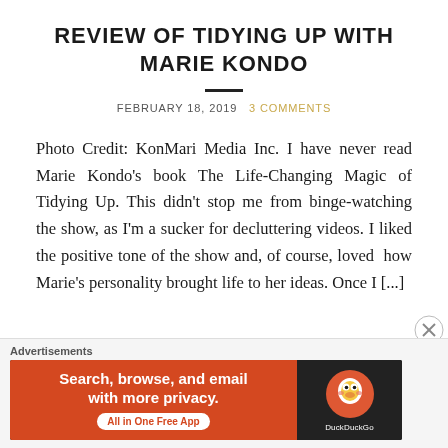REVIEW OF TIDYING UP WITH MARIE KONDO
FEBRUARY 18, 2019   3 COMMENTS
Photo Credit: KonMari Media Inc. I have never read Marie Kondo's book The Life-Changing Magic of Tidying Up. This didn't stop me from binge-watching the show, as I'm a sucker for decluttering videos. I liked the positive tone of the show and, of course, loved how Marie's personality brought life to her ideas. Once I [...]
Advertisements
[Figure (screenshot): DuckDuckGo advertisement banner: orange background on left with text 'Search, browse, and email with more privacy. All in One Free App' and DuckDuckGo logo on dark right side]